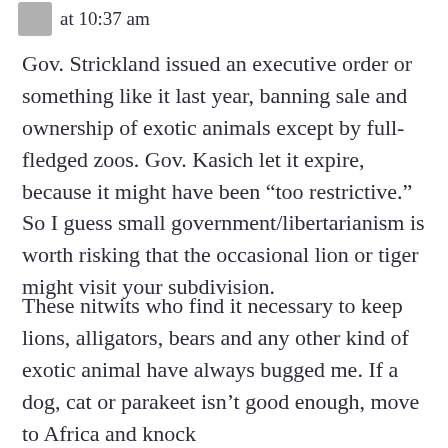at 10:37 am
Gov. Strickland issued an executive order or something like it last year, banning sale and ownership of exotic animals except by full-fledged zoos. Gov. Kasich let it expire, because it might have been “too restrictive.” So I guess small government/libertarianism is worth risking that the occasional lion or tiger might visit your subdivision.
These nitwits who find it necessary to keep lions, alligators, bears and any other kind of exotic animal have always bugged me. If a dog, cat or parakeet isn’t good enough, move to Africa and knock